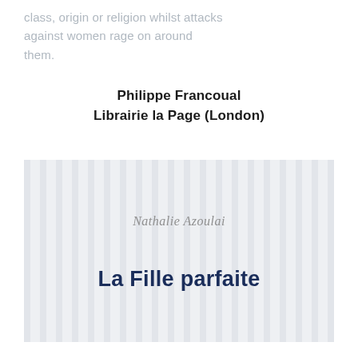class, origin or religion whilst attacks against women rage on around them.
Philippe Francoual
Librairie la Page (London)
[Figure (illustration): Book cover with vertical stripe pattern background showing author name 'Nathalie Azoulai' in italic and title 'La Fille parfaite' in bold dark navy text]